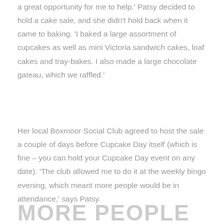a great opportunity for me to help.' Patsy decided to hold a cake sale, and she didn't hold back when it came to baking. 'I baked a large assortment of cupcakes as well as mini Victoria sandwich cakes, loaf cakes and tray-bakes. I also made a large chocolate gateau, which we raffled.'
Her local Boxmoor Social Club agreed to host the sale a couple of days before Cupcake Day itself (which is fine – you can hold your Cupcake Day event on any date). 'The club allowed me to do it at the weekly bingo evening, which meant more people would be in attendance,' says Patsy.
MORE PEOPLE